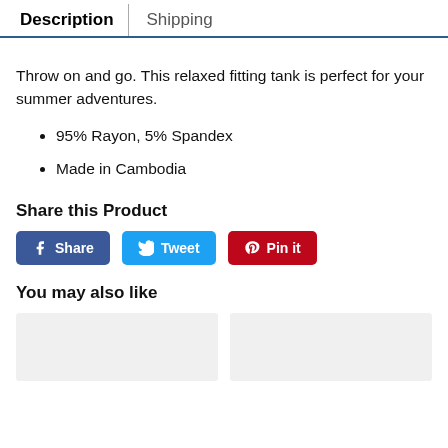Description | Shipping
Throw on and go. This relaxed fitting tank is perfect for your summer adventures.
95% Rayon, 5% Spandex
Made in Cambodia
Share this Product
Share | Tweet | Pin it
You may also like
[Figure (other): Two product image placeholders (gray boxes)]